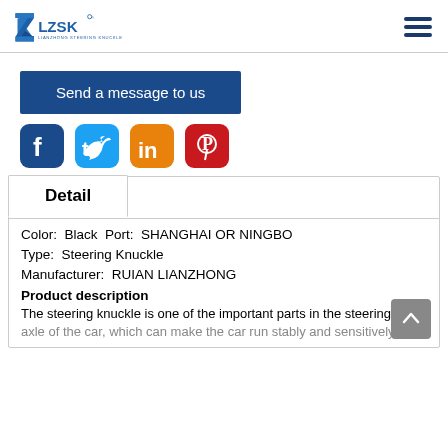LZSK LIANZHONG STEERING KNUCKLE logo and navigation menu
Send a message to us
[Figure (infographic): Social media icons: Facebook (dark blue), Twitter (light blue), LinkedIn (orange), Pinterest (red)]
Detail
Color:  Black  Port:  SHANGHAI OR NINGBO
Type:  Steering Knuckle
Manufacturer:  RUIAN LIANZHONG
Product description
The steering knuckle is one of the important parts in the steering axle of the car, which can make the car run stably and sensitively